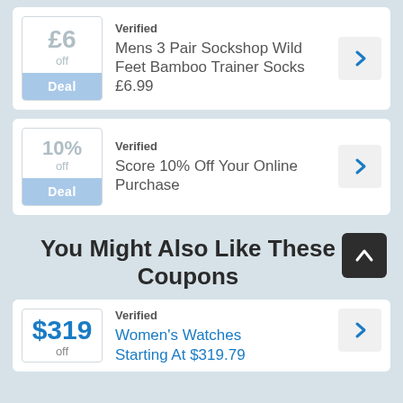Verified | Mens 3 Pair Sockshop Wild Feet Bamboo Trainer Socks £6.99 | £6 Off | Deal
Verified | Score 10% Off Your Online Purchase | 10% Off | Deal
You Might Also Like These Coupons
Verified | Women's Watches Starting At $319.79 | $319 Off